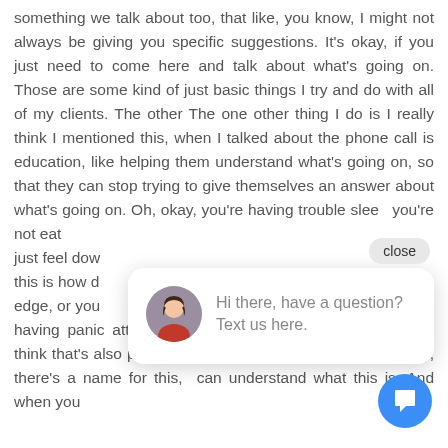something we talk about too, that like, you know, I might not always be giving you specific suggestions. It's okay, if you just need to come here and talk about what's going on. Those are some kind of just basic things I try and do with all of my clients. The other The one other thing I do is I really think I mentioned this, when I talked about the phone call is education, like helping them understand what's going on, so that they can stop trying to give themselves an answer about what's going on. Oh, okay, you're having trouble sleep you're not eat just feel dow this is how d edge, or you having panic attacks. This is what anxiety is, because I think that's also part of the process normalizing that, okay, there's a name for this, can understand what this is. And when you
[Figure (screenshot): Chat widget popup with close button and avatar of a woman, text 'Hi there, have a question? Text us here.' and a blue circular chat icon button.]